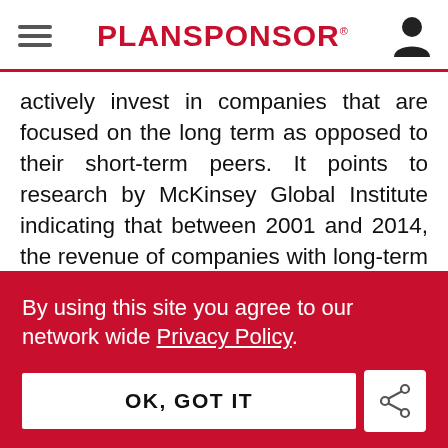PLANSPONSOR
actively invest in companies that are focused on the long term as opposed to their short-term peers. It points to research by McKinsey Global Institute indicating that between 2001 and 2014, the revenue of companies with long-term outlooks grew on average 47% more than that of other firms, and with less volatility. WTW also
By using this site you agree to our network wide Privacy Policy.
OK, GOT IT